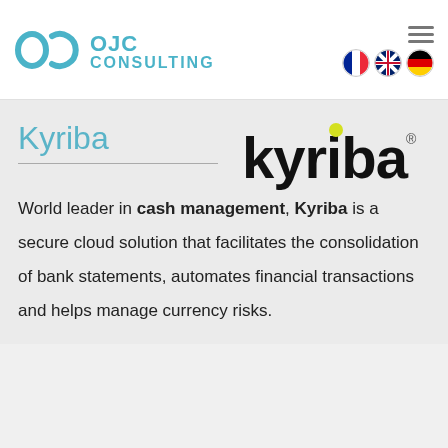[Figure (logo): OJC Consulting logo with teal circular icon and OJC CONSULTING text]
[Figure (logo): Hamburger menu icon (three horizontal lines)]
[Figure (infographic): Three flag icons: French, unknown/white, German]
Kyriba
[Figure (logo): Kyriba brand logo in black with yellow dot over the i and registered trademark symbol]
World leader in cash management, Kyriba is a secure cloud solution that facilitates the consolidation of bank statements, automates financial transactions and helps manage currency risks.